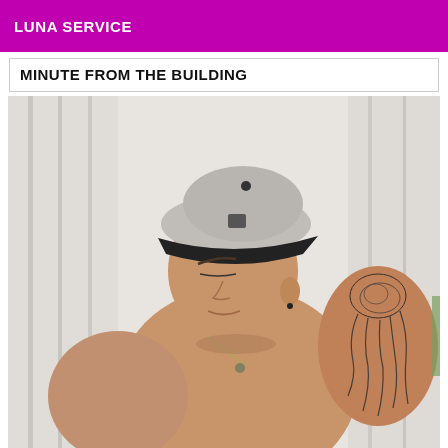LUNA SERVICE
MINUTE FROM THE BUILDING
[Figure (photo): Young man shirtless wearing a gray and black snapback cap, looking downward, with a tattoo on his right arm/shoulder, standing in front of white curtains.]